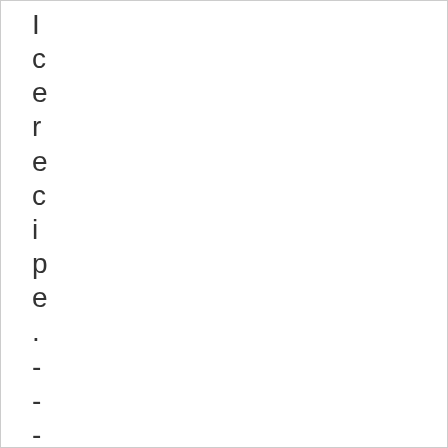I
c
e
r
e
c
i
p
e
.
-
-
-
→
R
e
a
d
M
o
r
e
:
L